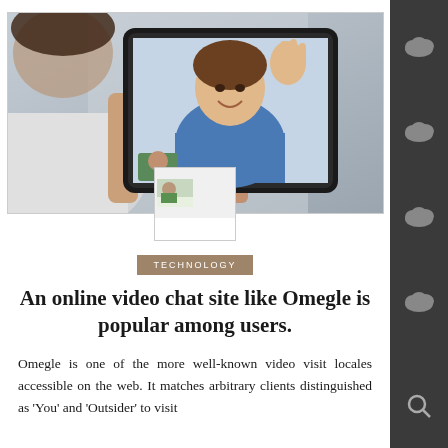[Figure (photo): Person holding a tablet showing a video call with a smiling woman in a blue top waving; small thumbnail overlay in center-bottom of image]
TECHNOLOGY
An online video chat site like Omegle is popular among users.
Omegle is one of the more well-known video visit locales accessible on the web. It matches arbitrary clients distinguished as 'You' and 'Outsider' to visit